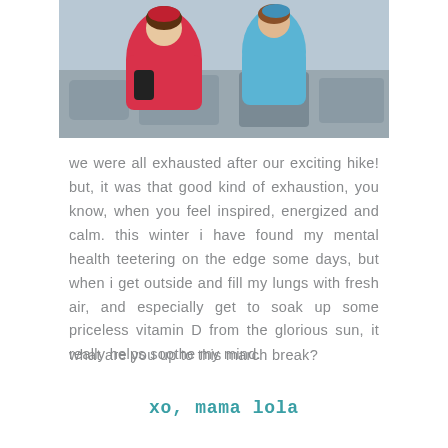[Figure (photo): Photo of children in colorful winter jackets sitting on rocky terrain outdoors, top portion of image visible]
we were all exhausted after our exciting hike! but, it was that good kind of exhaustion, you know, when you feel inspired, energized and calm. this winter i have found my mental health teetering on the edge some days, but when i get outside and fill my lungs with fresh air, and especially get to soak up some priceless vitamin D from the glorious sun, it really helps soothe my mind.
what are you up to this march break?
xo, mama lola